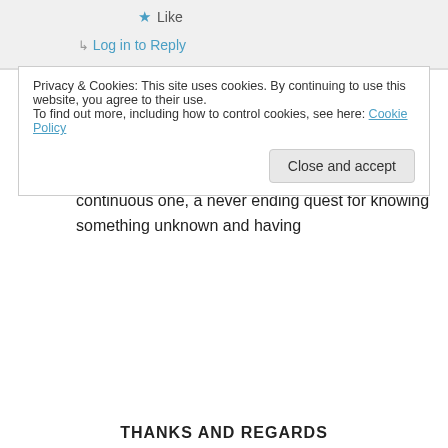Like
Log in to Reply
Harbans on 24/12/2021 at 08:09
👍 0 👎 0 ℹ Rate This
Factually Didi sir, spiritual journey of ours is a continuous one, a never ending quest for knowing something unknown and having
Privacy & Cookies: This site uses cookies. By continuing to use this website, you agree to their use.
To find out more, including how to control cookies, see here: Cookie Policy
Close and accept
THANKS AND REGARDS